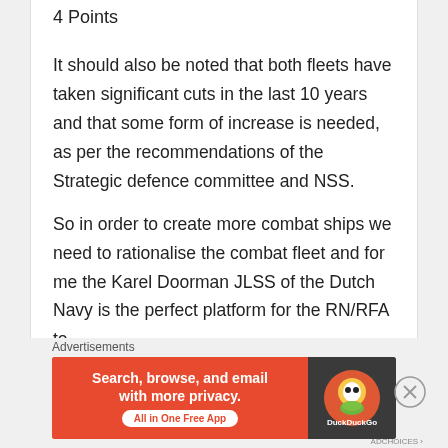4 Points
It should also be noted that both fleets have taken significant cuts in the last 10 years and that some form of increase is needed, as per the recommendations of the Strategic defence committee and NSS.
So in order to create more combat ships we need to rationalise the combat fleet and for me the Karel Doorman JLSS of the Dutch Navy is the perfect platform for the RN/RFA to
Advertisements
[Figure (screenshot): DuckDuckGo advertisement banner: orange background with text 'Search, browse, and email with more privacy. All in One Free App' and DuckDuckGo logo on dark right panel]